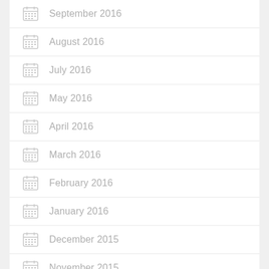September 2016
August 2016
July 2016
May 2016
April 2016
March 2016
February 2016
January 2016
December 2015
November 2015
October 2015
September 2015